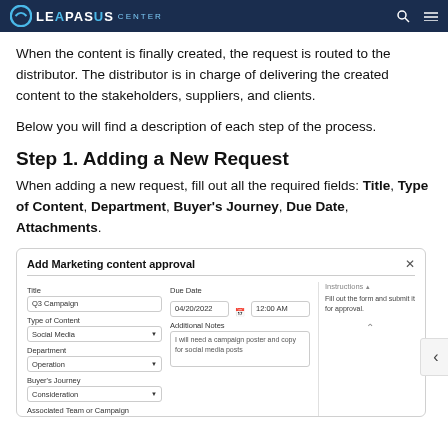LEAPASUS CENTER
When the content is finally created, the request is routed to the distributor. The distributor is in charge of delivering the created content to the stakeholders, suppliers, and clients.
Below you will find a description of each step of the process.
Step 1. Adding a New Request
When adding a new request, fill out all the required fields: Title, Type of Content, Department, Buyer's Journey, Due Date, Attachments.
[Figure (screenshot): Screenshot of 'Add Marketing content approval' modal dialog with fields: Title (Q3 Campaign), Due Date (04/20/2022, 12:00 AM), Type of Content (Social Media), Additional Notes (I will need a campaign poster and copy for social media posts), Department (Operation), Buyer's Journey (Consideration), Associated Team or Campaign. Right panel shows Instructions with text: Fill out the form and submit it for approval.]